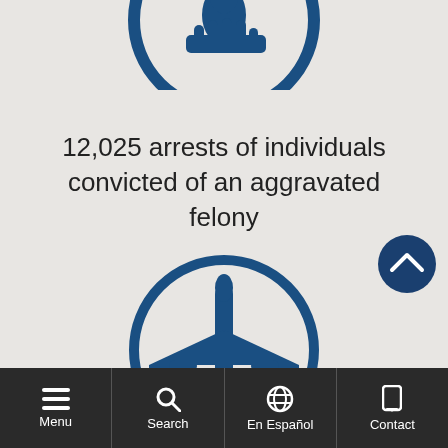[Figure (illustration): Partial circular blue icon at top, showing a hand/flame symbol, partially cropped]
12,025 arrests of individuals convicted of an aggravated felony
[Figure (illustration): Blue circular icon with airplane/building silhouette inside]
[Figure (illustration): Dark blue circular scroll-to-top button with upward chevron]
Menu | Search | En Español | Contact